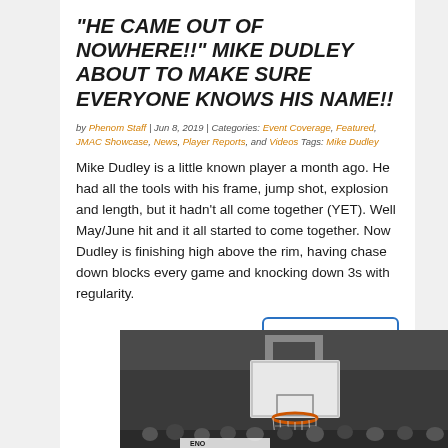“HE CAME OUT OF NOWHERE!!” MIKE DUDLEY ABOUT TO MAKE SURE EVERYONE KNOWS HIS NAME!!
by Phenom Staff | Jun 8, 2019 | Categories: Event Coverage, Featured, JMAC Showcase, News, Player Reports, and Videos Tags: Mike Dudley
Mike Dudley is a little known player a month ago. He had all the tools with his frame, jump shot, explosion and length, but it hadn't all come together (YET). Well May/June hit and it all started to come together. Now Dudley is finishing high above the rim, having chase down blocks every game and knocking down 3s with regularity.
[Figure (other): READ MORE button - blue bordered button with blue text]
[Figure (photo): Basketball gymnasium photo showing a basketball hoop/backboard from below, with players visible at the bottom of the frame and a banner partially visible]